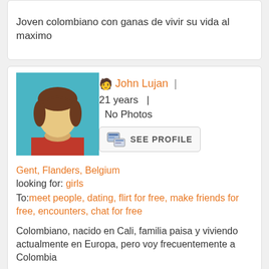Joven colombiano con ganas de vivir su vida al maximo
[Figure (photo): Default male avatar profile picture with teal/blue background, generic person silhouette]
John Lujan | 21 years | No Photos
[Figure (illustration): SEE PROFILE button with profile card icon]
Gent, Flanders, Belgium
looking for: girls
To: meet people, dating, flirt for free, make friends for free, encounters, chat for free
Colombiano, nacido en Cali, familia paisa y viviendo actualmente en Europa, pero voy frecuentemente a Colombia